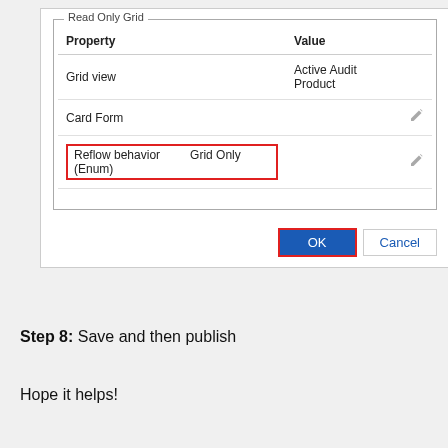[Figure (screenshot): Screenshot of a 'Read Only Grid' property panel showing a table with Property/Value columns. Rows: Grid view / Active Audit Product, Card Form / (empty), Reflow behavior / Grid Only (Enum) (highlighted with red border). Below the grid panel are OK (blue, red-bordered) and Cancel buttons.]
Step 8: Save and then publish
Hope it helps!